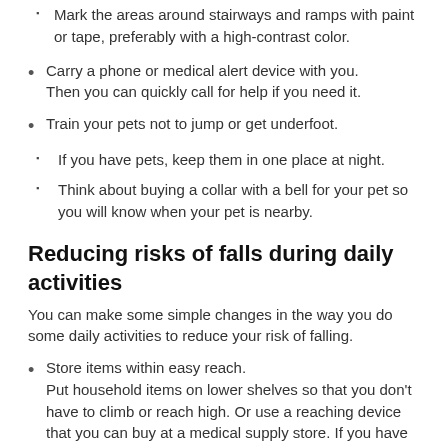Mark the areas around stairways and ramps with paint or tape, preferably with a high-contrast color.
Carry a phone or medical alert device with you.
Then you can quickly call for help if you need it.
Train your pets not to jump or get underfoot.
  - If you have pets, keep them in one place at night.
  - Think about buying a collar with a bell for your pet so you will know when your pet is nearby.
Reducing risks of falls during daily activities
You can make some simple changes in the way you do some daily activities to reduce your risk of falling.
Store items within easy reach.
Put household items on lower shelves so that you don't have to climb or reach high. Or use a reaching device that you can buy at a medical supply store. If you have to climb for something, use a step stool with handrails.